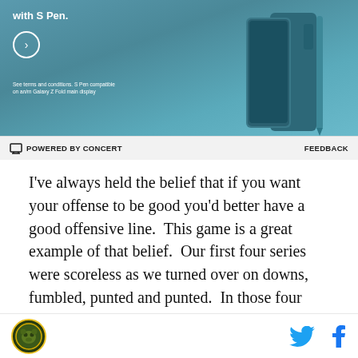[Figure (other): Advertisement banner showing a Samsung Galaxy Z Fold smartphone with teal/dark green color scheme and promotional text]
POWERED BY CONCERT    FEEDBACK
I've always held the belief that if you want your offense to be good you'd better have a good offensive line.  This game is a great example of that belief.  Our first four series were scoreless as we turned over on downs, fumbled, punted and punted.  In those four series we had five pass block errors, seven run block errors, two sacks and a penalty (false start on Jarrell Broxton) and graded out at 80.4% as a unit.  The next three series finished with two touchdowns with a field goal in between.  In those three series we had just one
Logo | Twitter | Facebook